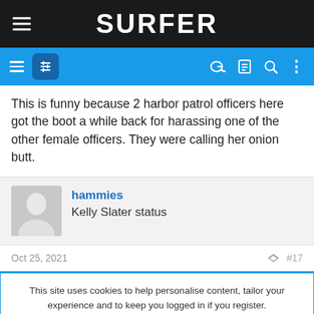SURFER
This is funny because 2 harbor patrol officers here got the boot a while back for harassing one of the other female officers. They were calling her onion butt.
hammies
Kelly Slater status
Oct 25, 2021  #17
This site uses cookies to help personalise content, tailor your experience and to keep you logged in if you register. By continuing to use this site, you are consenting to our use of cookies.
ACCEPT  LEARN MORE...